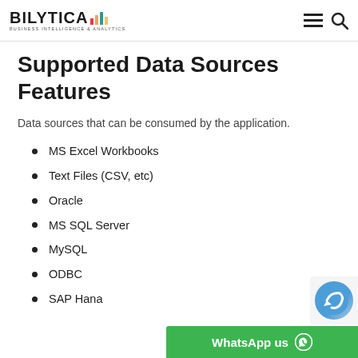BILYTICA BUSINESS INTELLIGENCE & ANALYTICS
Supported Data Sources Features
Data sources that can be consumed by the application.
MS Excel Workbooks
Text Files (CSV, etc)
Oracle
MS SQL Server
MySQL
ODBC
SAP Hana